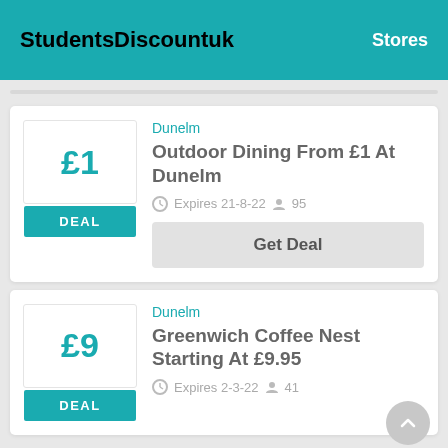StudentsDiscountuk | Stores
Dunelm
Outdoor Dining From £1 At Dunelm
Expires 21-8-22  95
Get Deal
Dunelm
Greenwich Coffee Nest Starting At £9.95
Expires 2-3-22  41